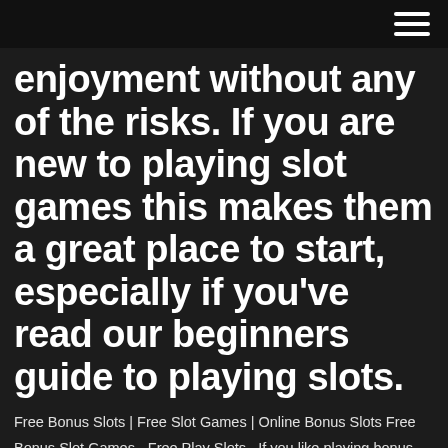enjoyment without any of the risks. If you are new to playing slot games this makes them a great place to start, especially if you've read our beginners guide to playing slots.
Free Bonus Slots | Free Slot Games | Online Bonus Slots Free Bonus Slot Games - Free Play Slots . If you like playing bonus slots online then you will love our range of slot games below, you can play each and everyone of them completely free of charge simply follow the links and get spinning those reels. Thunderstruck Slot - 10000 coins can be won along with free-spins.